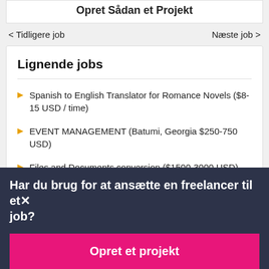Opret Sådan et Projekt
< Tidligere job
Næste job >
Lignende jobs
Spanish to English Translator for Romance Novels ($8-15 USD / time)
EVENT MANAGEMENT (Batumi, Georgia $250-750 USD)
Files and Documents conversion ($1500-3000 USD)
Har du brug for at ansætte en freelancer til et job?
Opret et projekt